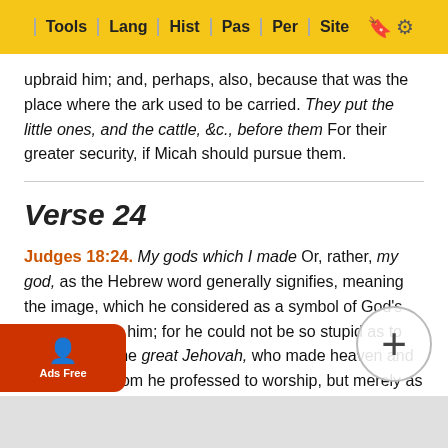Tools | Lang | Hist | Pas | Per | Site
upbraid him; and, perhaps, also, because that was the place where the ark used to be carried. They put the little ones, and the cattle, &c., before them For their greater security, if Micah should pursue them.
Verse 24
Judges 18:24. My gods which I made Or, rather, my god, as the Hebrew word generally signifies, meaning the image, which he considered as a symbol of God's presence with him; for he could not be so stupid as to think it to be the great Jehovah, who made heaven and earth, and whom he professed to worship, but merely as a medium through which he offered up his worship to him, as many of the heathen did. What have I more? I value nothing I have in comparison of what I have lost. The loss of my god — the idol — may strike me with more distress than the loss of my children and